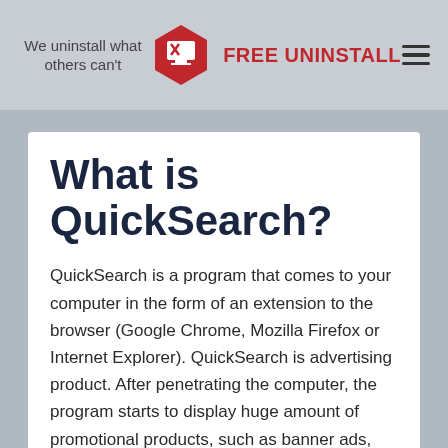We uninstall what others can't | FREE UNINSTALL
What is QuickSearch?
QuickSearch is a program that comes to your computer in the form of an extension to the browser (Google Chrome, Mozilla Firefox or Internet Explorer). QuickSearch is advertising product. After penetrating the computer, the program starts to display huge amount of promotional products, such as banner ads,